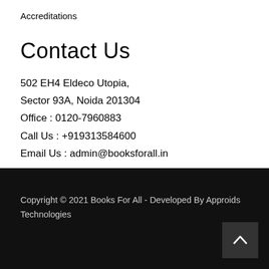Accreditations
Contact Us
502 EH4 Eldeco Utopia,
Sector 93A, Noida 201304
Office : 0120-7960883
Call Us : +919313584600
Email Us : admin@booksforall.in
Copyright © 2021 Books For All - Developed By Approids Technologies